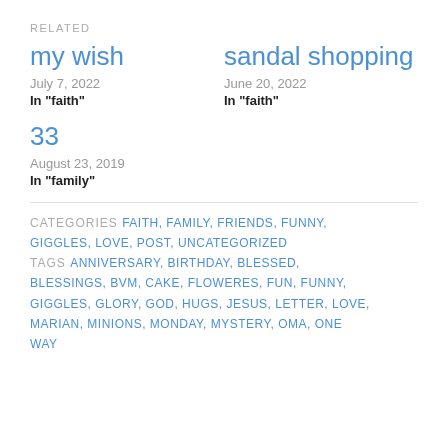RELATED
my wish
July 7, 2022
In "faith"
sandal shopping
June 20, 2022
In "faith"
33
August 23, 2019
In "family"
CATEGORIES FAITH, FAMILY, FRIENDS, FUNNY, GIGGLES, LOVE, POST, UNCATEGORIZED
TAGS ANNIVERSARY, BIRTHDAY, BLESSED, BLESSINGS, BVM, CAKE, FLOWERES, FUN, FUNNY, GIGGLES, GLORY, GOD, HUGS, JESUS, LETTER, LOVE, MARIAN, MINIONS, MONDAY, MYSTERY, OMA, ONE WAY